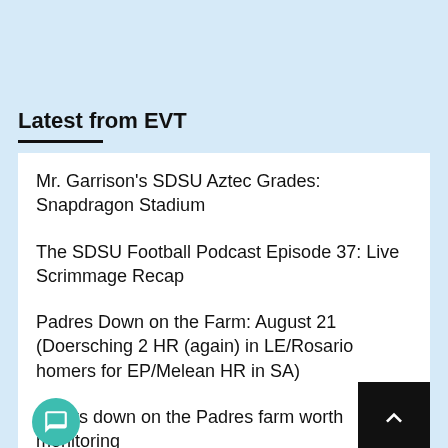Latest from EVT
Mr. Garrison's SDSU Aztec Grades: Snapdragon Stadium
The SDSU Football Podcast Episode 37: Live Scrimmage Recap
Padres Down on the Farm: August 21 (Doersching 2 HR (again) in LE/Rosario homers for EP/Melean HR in SA)
spects down on the Padres farm worth monitoring